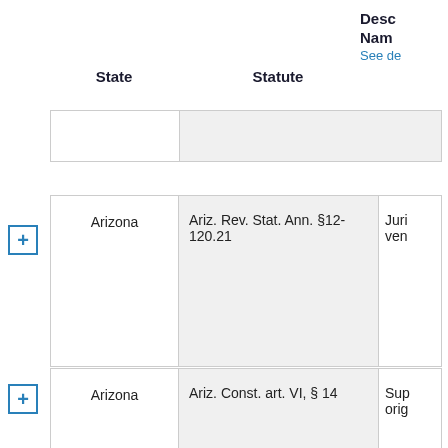| State | Statute | Description Name |
| --- | --- | --- |
| Arizona | Ariz. Rev. Stat. Ann. §12-120.21 | Juri... ven... |
| Arizona | Ariz. Const. art. VI, § 14 | Sup... orig... |